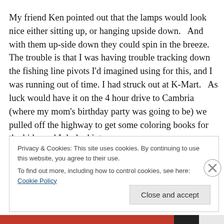My friend Ken pointed out that the lamps would look nice either sitting up, or hanging upside down.   And with them up-side down they could spin in the breeze.   The trouble is that I was having trouble tracking down the fishing line pivots I'd imagined using for this, and I was running out of time. I had struck out at K-Mart.   As luck would have it on the 4 hour drive to Cambria (where my mom's birthday party was going to be) we pulled off the highway to get some coloring books for the kids, and I dashed into a
Privacy & Cookies: This site uses cookies. By continuing to use this website, you agree to their use.
To find out more, including how to control cookies, see here: Cookie Policy
Close and accept